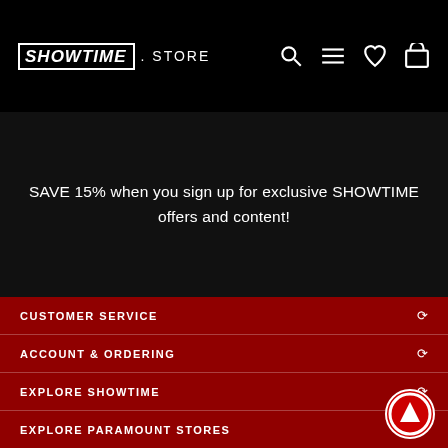SHOWTIME STORE
SAVE 15% when you sign up for exclusive SHOWTIME offers and content!
CUSTOMER SERVICE
ACCOUNT & ORDERING
EXPLORE SHOWTIME
EXPLORE PARAMOUNT STORES